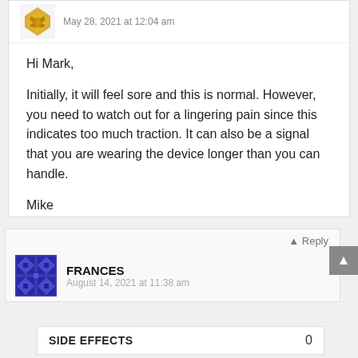May 28, 2021 at 12:04 am
Hi Mark,

Initially, it will feel sore and this is normal. However, you need to watch out for a lingering pain since this indicates too much traction. It can also be a signal that you are wearing the device longer than you can handle.

Mike
Reply
FRANCES
August 14, 2021 at 11:38 am
SIDE EFFECTS
0